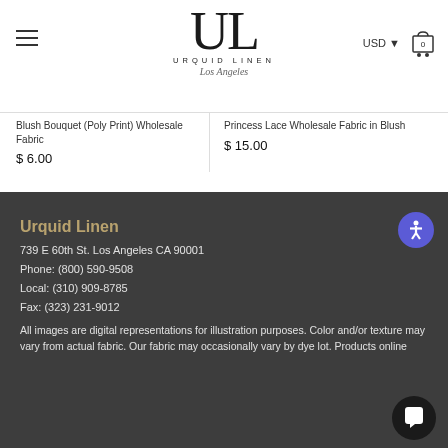Urquid Linen — USD — Cart
Blush Bouquet (Poly Print) Wholesale Fabric
$ 6.00
Princess Lace Wholesale Fabric in Blush
$ 15.00
Urquid Linen
739 E 60th St. Los Angeles CA 90001
Phone: (800) 590-9508
Local: (310) 909-8785
Fax: (323) 231-9012
All images are digital representations for illustration purposes. Color and/or texture may vary from actual fabric. Our fabric may occasionally vary by dye lot. Products online